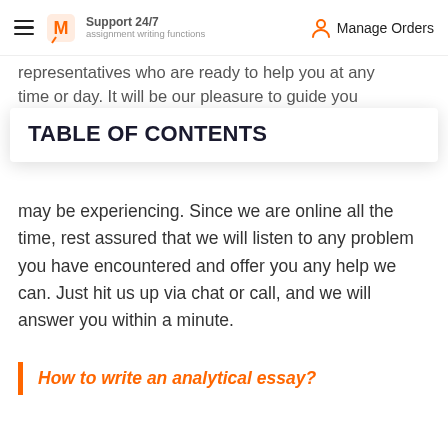Support 24/7 | Manage Orders
representatives who are ready to help you at any time or day. It will be our pleasure to guide you
TABLE OF CONTENTS
may be experiencing. Since we are online all the time, rest assured that we will listen to any problem you have encountered and offer you any help we can. Just hit us up via chat or call, and we will answer you within a minute.
How to write an analytical essay?